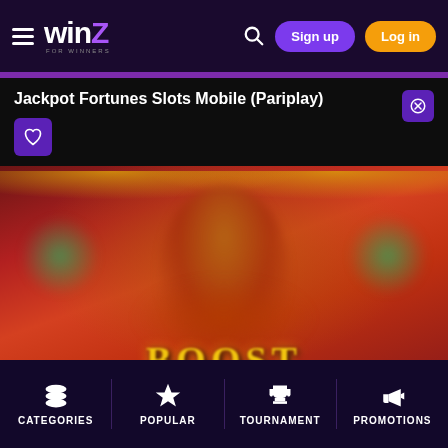WinZ - For Winners - Sign up | Log in
Jackpot Fortunes Slots Mobile (Pariplay)
[Figure (screenshot): Jackpot Fortunes slot game artwork showing a Chinese fortune god figure with coins and green clovers on a red/orange background, with gold text at the bottom]
CATEGORIES | POPULAR | TOURNAMENT | PROMOTIONS